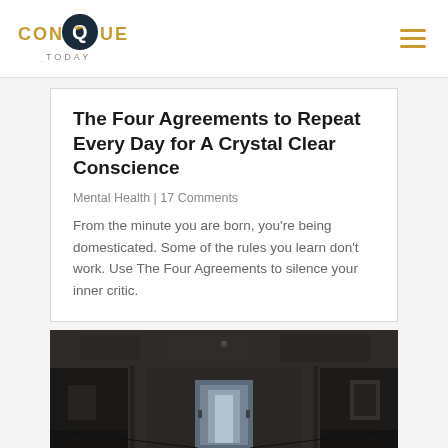CONQUER TODAY
The Four Agreements to Repeat Every Day for A Crystal Clear Conscience
Mental Health | 17 Comments
From the minute you are born, you're being domesticated. Some of the rules you learn don't work. Use The Four Agreements to silence your inner critic.
[Figure (photo): Dark interior hallway of an abandoned or industrial building with concrete walls and a door at the end letting in light]